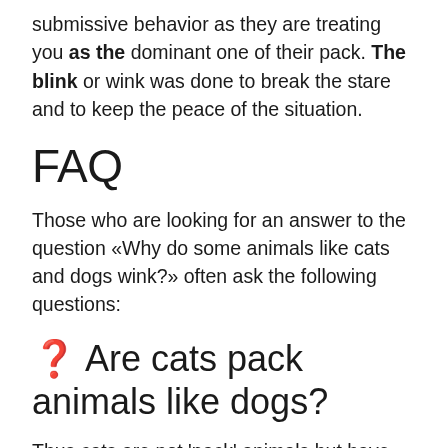submissive behavior as they are treating you as the dominant one of their pack. The blink or wink was done to break the stare and to keep the peace of the situation.
FAQ
Those who are looking for an answer to the question «Why do some animals like cats and dogs wink?» often ask the following questions:
❓ Are cats pack animals like dogs?
Thus cats are not 'pack' animals but have the ability to adapt to form social groups… Cats can form strong social relationships with familiar individuals.